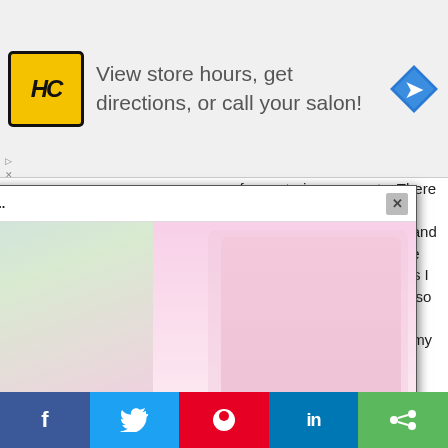[Figure (other): Advertisement banner: HC logo (yellow/black), text 'View store hours, get directions, or call your salon!', blue diamond arrow icon on right]
cameras are for capturing moments. There are so many things always going on around you when you're out and about and so many great photo opportunities come from them. Most of the time, the pictures I take on film are for myself to collect. I also carry around other various photo equipment to shoots like my computer, my DSLR camera, cables a... different lenses.
view all comments...
Add a comment...
[Figure (screenshot): Video popup overlay: 'Top Videos: - Chihuahua Gets the Qui...' title bar with X close button. Video frame showing 'CHIHUAHUA GETS THE QUINCEANERA OF HER DREAMS' caption on pink background with mute button icon. Right side shows a small dog in pink outfit.]
6. Chic Lea...
Nothing says...
[Figure (other): Social share bar with Facebook, Twitter, Pinterest, LinkedIn, and share buttons]